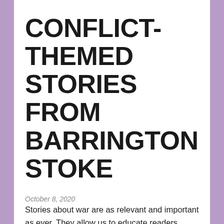CONFLICT-THEMED STORIES FROM BARRINGTON STOKE
October 8, 2020
Stories about war are as relevant and important as ever. They allow us to educate readers about conflicts past and present, encouraging them to empathise and reflect. Barrington Stoke have an excellent range of conflict-themed tales written by